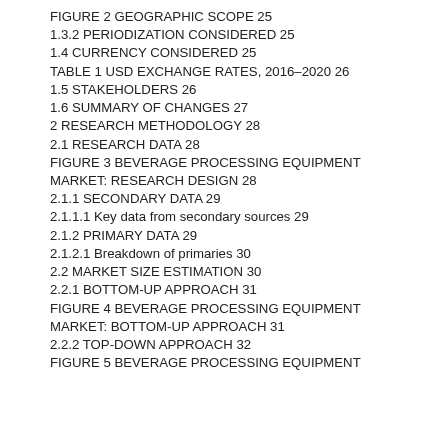FIGURE 2 GEOGRAPHIC SCOPE 25
1.3.2 PERIODIZATION CONSIDERED 25
1.4 CURRENCY CONSIDERED 25
TABLE 1 USD EXCHANGE RATES, 2016–2020 26
1.5 STAKEHOLDERS 26
1.6 SUMMARY OF CHANGES 27
2 RESEARCH METHODOLOGY 28
2.1 RESEARCH DATA 28
FIGURE 3 BEVERAGE PROCESSING EQUIPMENT MARKET: RESEARCH DESIGN 28
2.1.1 SECONDARY DATA 29
2.1.1.1 Key data from secondary sources 29
2.1.2 PRIMARY DATA 29
2.1.2.1 Breakdown of primaries 30
2.2 MARKET SIZE ESTIMATION 30
2.2.1 BOTTOM-UP APPROACH 31
FIGURE 4 BEVERAGE PROCESSING EQUIPMENT MARKET: BOTTOM-UP APPROACH 31
2.2.2 TOP-DOWN APPROACH 32
FIGURE 5 BEVERAGE PROCESSING EQUIPMENT